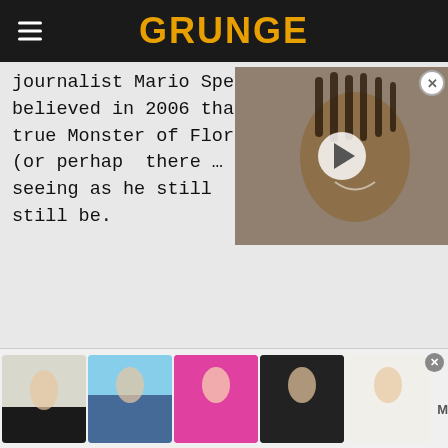GRUNGE
journalist Mario Spezi, believed in 2006 that the true Monster of Florence (or perhap... there … and, seeing as he still ... still be.
[Figure (screenshot): Video thumbnail showing a man with dreadlocks smiling, with a play button overlay and a close/X button in the top right corner]
[Figure (screenshot): Advertisement banner showing 5 swimsuit/swimwear product thumbnails with Modlily logo and close button]